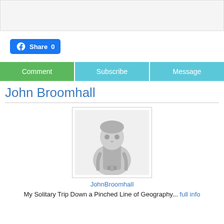[Figure (screenshot): Top grey box area (banner/ad placeholder)]
[Figure (screenshot): Facebook Share button with count 0]
[Figure (screenshot): Tab bar with Comment, Subscribe, Message buttons]
John Broomhall
[Figure (illustration): Default avatar/profile image of a person with backpack in greyscale]
JohnBroomhall
My Solitary Trip Down a Pinched Line of Geography... full info